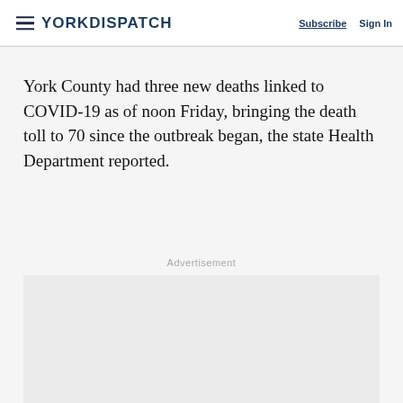YORK DISPATCH | Subscribe | Sign In
York County had three new deaths linked to COVID-19 as of noon Friday, bringing the death toll to 70 since the outbreak began, the state Health Department reported.
Advertisement